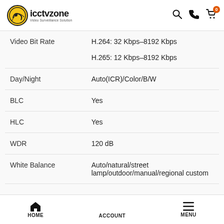icctvzone - Video Surveillance Solution
| Property | Value |
| --- | --- |
| Video Bit Rate | H.264: 32 Kbps–8192 Kbps
H.265: 12 Kbps–8192 Kbps |
| Day/Night | Auto(ICR)/Color/B/W |
| BLC | Yes |
| HLC | Yes |
| WDR | 120 dB |
| White Balance | Auto/natural/street lamp/outdoor/manual/regional custom |
HOME   ACCOUNT   MENU